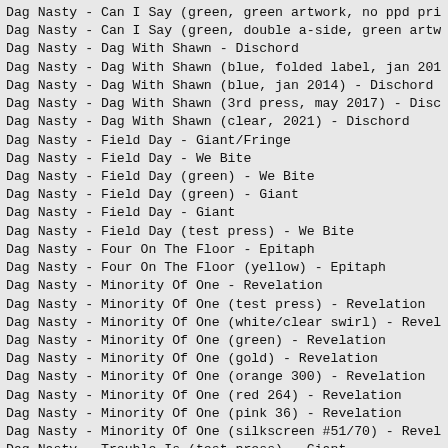Dag Nasty - Can I Say (green, green artwork, no ppd pri
Dag Nasty - Can I Say (green, double a-side, green artw
Dag Nasty - Dag With Shawn - Dischord
Dag Nasty - Dag With Shawn (blue, folded label, jan 201
Dag Nasty - Dag With Shawn (blue, jan 2014) - Dischord
Dag Nasty - Dag With Shawn (3rd press, may 2017) - Disc
Dag Nasty - Dag With Shawn (clear, 2021) - Dischord
Dag Nasty - Field Day - Giant/Fringe
Dag Nasty - Field Day - We Bite
Dag Nasty - Field Day (green) - We Bite
Dag Nasty - Field Day (green) - Giant
Dag Nasty - Field Day - Giant
Dag Nasty - Field Day (test press) - We Bite
Dag Nasty - Four On The Floor - Epitaph
Dag Nasty - Four On The Floor (yellow) - Epitaph
Dag Nasty - Minority Of One - Revelation
Dag Nasty - Minority Of One (test press) - Revelation
Dag Nasty - Minority Of One (white/clear swirl) - Revel
Dag Nasty - Minority Of One (green) - Revelation
Dag Nasty - Minority Of One (gold) - Revelation
Dag Nasty - Minority Of One (orange 300) - Revelation
Dag Nasty - Minority Of One (red 264) - Revelation
Dag Nasty - Minority Of One (pink 36) - Revelation
Dag Nasty - Minority Of One (silkscreen #51/70) - Revel
Dag Nasty - Trouble Is (test press) - Giant
Dag Nasty - Trouble Is (test press) - Giant
Dag Nasty - Trouble Is (green) - Giant
Dag Nasty - Trouble Is - Giant
Dag Nasty - Wig Out At Denkos (test press) - Dischord
Dag Nasty - Wig Out At Denkos (test press) - Dischord